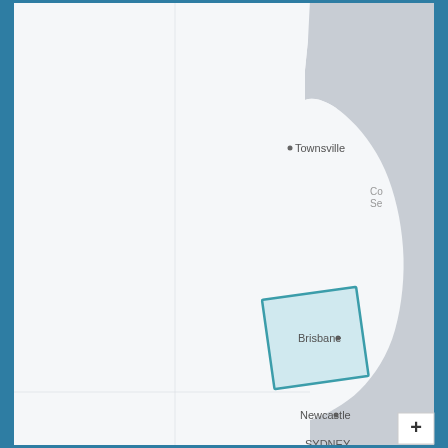[Figure (map): Interactive map showing eastern Australia including Queensland and New South Wales coastline. Cities labeled: Townsville (north), Brisbane (east coast), Newcastle (south-east coast), SYDNEY (partially visible at bottom). A teal/blue outlined square region is highlighted in central Queensland inland area. The map has a blue border frame and the ocean/water areas are shown in grey. A zoom-in (+) button is visible in the bottom-right corner.]